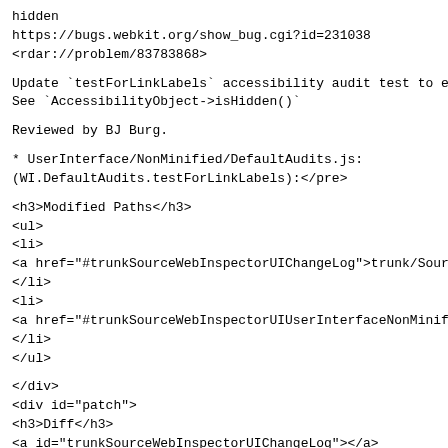hidden
https://bugs.webkit.org/show_bug.cgi?id=231038
<rdar://problem/83783868>
Update `testForLinkLabels` accessibility audit test to ex
See `AccessibilityObject->isHidden()`
Reviewed by BJ Burg.
* UserInterface/NonMinified/DefaultAudits.js:
(WI.DefaultAudits.testForLinkLabels):</pre>
<h3>Modified Paths</h3>
<ul>
<li>
<a href="#trunkSourceWebInspectorUIChangeLog">trunk/Sourc
</li>
<li>
<a href="#trunkSourceWebInspectorUIUserInterfaceNonMinif:
</li>
</ul>
</div>
<div id="patch">
<h3>Diff</h3>
<a id="trunkSourceWebInspectorUIChangeLog"></a>
<div class="modfile">
<h4>Modified: trunk/Source/WebInspectorUI/ChangeLog (2849
</h4>
<pre class="diff"><span>